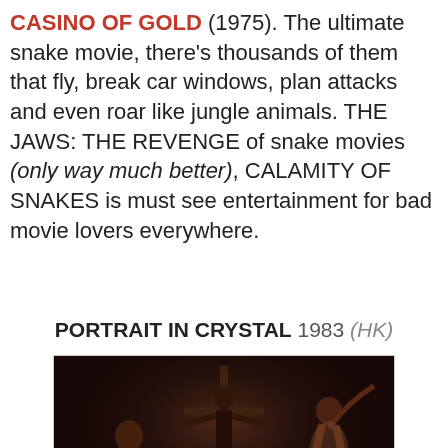CASINO OF GOLD (1975). The ultimate snake movie, there's thousands of them that fly, break car windows, plan attacks and even roar like jungle animals. THE JAWS: THE REVENGE of snake movies (only way much better), CALAMITY OF SNAKES is must see entertainment for bad movie lovers everywhere.
PORTRAIT IN CRYSTAL 1983 (HK)
[Figure (photo): A dark scene with people in dramatic poses around a crucifixion-like structure, with warm torchlight in a dimly lit setting.]